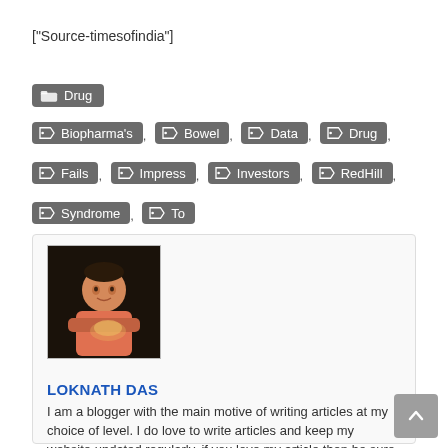["Source-timesofindia"]
Drug
Biopharma's , Bowel , Data , Drug ,
Fails , Impress , Investors , RedHill ,
Syndrome , To
[Figure (photo): Author photo of Loknath Das]
LOKNATH DAS
I am a blogger with the main motive of writing articles at my choice of level. I do love to write articles and keep my website updated regularly. if you love my article then be sure